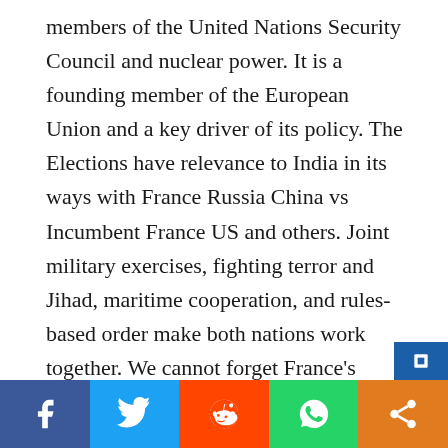members of the United Nations Security Council and nuclear power. It is a founding member of the European Union and a key driver of its policy. The Elections have relevance to India in its ways with France Russia China vs Incumbent France US and others. Joint military exercises, fighting terror and Jihad, maritime cooperation, and rules-based order make both nations work together. We cannot forget France's support in supplying the latest Rafael aircraft to India when it needed them the most. It is estimated that there are around 106,000 Indians in France. They largely originated from Puducherry, Karaikal, Yanam, Mahe and Chandranagar.